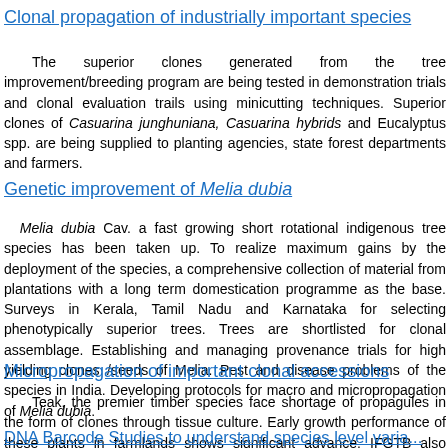Clonal propagation of industrially important species
The superior clones generated from the tree improvement/breeding p... demonstration trials and clonal evaluation trails using minicutting techniqu... clones of Casuarina junghuniana, Casuarina hybrids and Eucalyptus spp planting agencies, state forest departments and farmers.
Genetic improvement of Melia dubia
Melia dubia Cav. a fast growing short rotational indigenous tree species h... To realize maximum gains by the deployment of the species, a comprehen... material from plantations with a long term domestication programme as t... Kerala, Tamil Nadu and Karnataka for selecting phenotypically superior tr... shortlisted for clonal assemblage. Establishing and managing provenance... yielding clones /seeds of Melia. Pest and disease problems of the species i... protocols for macro and micropropagation of Melia dubia.
Micropropagation of important clonal accessions
Teak, the premier timber species face shortage of propagules in the form... tissue culture. Early growth performance of these plants in farmlands show... advance. IFGTB also propagates germplasm of bamboos identified by RFR...
DNA Barcode Studies to understand species level varia...